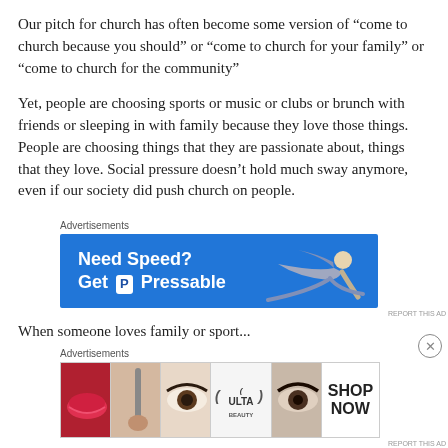Our pitch for church has often become some version of “come to church because you should” or “come to church for your family” or “come to church for the community”
Yet, people are choosing sports or music or clubs or brunch with friends or sleeping in with family because they love those things. People are choosing things that they are passionate about, things that they love. Social pressure doesn’t hold much sway anymore, even if our society did push church on people.
[Figure (other): Advertisement banner: blue background with white bold text 'Need Speed? Get [Pressable icon] Pressable' and a person flying horizontally on the right side]
When someone loves family or sports or brunch or family...
[Figure (other): Ulta Beauty advertisement banner showing beauty product images (lips, makeup brush, eyes) and Ulta logo with 'SHOP NOW' button]